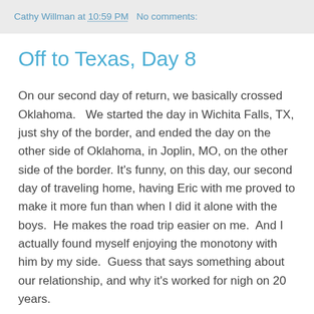Cathy Willman at 10:59 PM   No comments:
Off to Texas, Day 8
On our second day of return, we basically crossed Oklahoma.   We started the day in Wichita Falls, TX, just shy of the border, and ended the day on the other side of Oklahoma, in Joplin, MO, on the other side of the border.  It's funny, on this day, our second day of traveling home, having Eric with me proved to make it more fun than when I did it alone with the boys.  He makes the road trip easier on me.  And I actually found myself enjoying the monotony with him by my side.  Guess that says something about our relationship, and why it's worked for nigh on 20 years.
We have proven we can put up with a lot.  Even when the going gets tough.   We've gotten through a lot together.   And we are ok.  Though we did learn in Wichita Falls, that 2 big